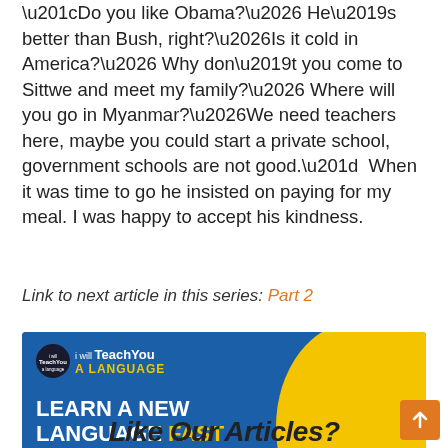“Do you like Obama?… He’s better than Bush, right?…Is it cold in America?… Why don’t you come to Sittwe and meet my family?… Where will you go in Myanmar?…We need teachers here, maybe you could start a private school, government schools are not good.”  When it was time to go he insisted on paying for my meal. I was happy to accept his kindness.
Link to next article in this series: Part 2
[Figure (photo): Advertisement banner for 'I Will Teach You A Language' website. Blue and yellow background with group of young people holding language speech bubbles (bonjour, hello, hallo). Text: LEARN A NEW LANGUAGE FAST With Our Exciting New Story Learning Method! GET STARTED button.]
Like Our Articles?